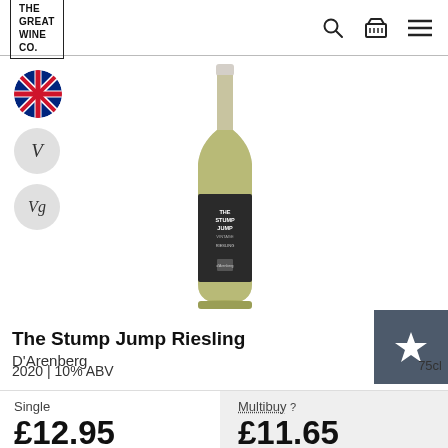THE GREAT WINE CO.
[Figure (photo): Australian flag circular badge icon]
[Figure (other): Circular badge with letter V (vegetarian)]
[Figure (other): Circular badge with letters Vg (vegan)]
[Figure (photo): Wine bottle - The Stump Jump Riesling by d'Arenberg, green glass bottle with dark label]
The Stump Jump Riesling
D'Arenberg
2020 | 10% ABV
75cl
Single
£12.95
Multibuy ? £11.65